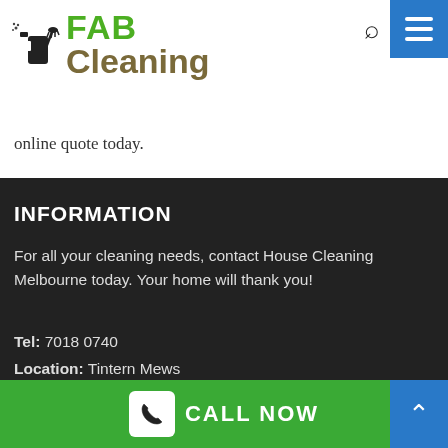[Figure (logo): FAB Cleaning logo with spray bottle icon, FAB in green bold text and Cleaning in olive/brown bold text]
online quote today.
INFORMATION
For all your cleaning needs, contact House Cleaning Melbourne today. Your home will thank you!
Tel: 7018 0740
Location: Tintern Mews
Cheltenham. Victoria 3192
CALL NOW